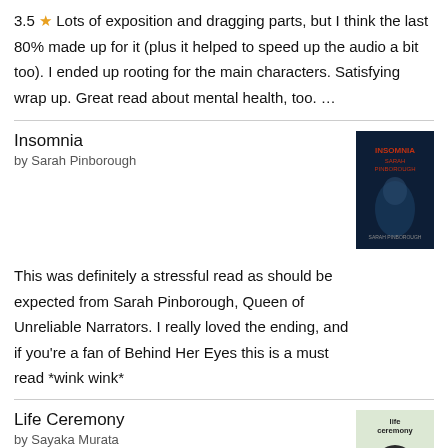3.5 ⭐ Lots of exposition and dragging parts, but I think the last 80% made up for it (plus it helped to speed up the audio a bit too). I ended up rooting for the main characters. Satisfying wrap up. Great read about mental health, too. …
Insomnia
by Sarah Pinborough
[Figure (photo): Book cover of Insomnia by Sarah Pinborough — dark blue cover with a person silhouette]
This was definitely a stressful read as should be expected from Sarah Pinborough, Queen of Unreliable Narrators. I really loved the ending, and if you're a fan of Behind Her Eyes this is a must read *wink wink*
Life Ceremony
by Sayaka Murata
[Figure (photo): Book cover of Life Ceremony by Sayaka Murata — light green cover with a dark circular object]